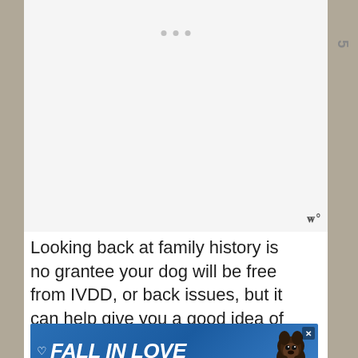[Figure (screenshot): Screenshot of a webpage showing a large white/light gray content area at the top with three navigation dots, and a small logo/wordmark in the bottom right of that section.]
Looking back at family history is no grantee your dog will be free from IVDD, or back issues, but it can help give you a good idea of how likely it is to happen.
[Figure (screenshot): Advertisement banner with blue gradient background showing 'FALL IN LOVE' text in white bold italic font with a heart icon on the left and a dog image (appears to be a dachshund) on the right. Has a close button in the top right corner.]